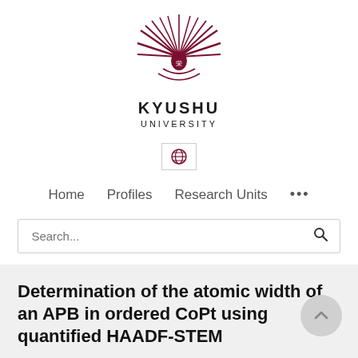[Figure (logo): Kyushu University logo — stylized sunburst/feather crest in dark red/maroon above the text KYUSHU UNIVERSITY]
KYUSHU
UNIVERSITY
[Figure (other): Globe icon in a bordered box representing language/international toggle]
Home   Profiles   Research Units   ...
Search...
Determination of the atomic width of an APB in ordered CoPt using quantified HAADF-STEM
H. Abramian, K. H. W. van den Bos, N. Gauquelin, S...